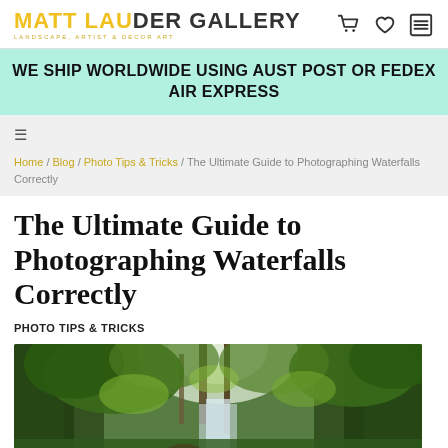MATT LAUDER GALLERY — Landscape, Artist & Decor Art
WE SHIP WORLDWIDE USING AUST POST OR FEDEX AIR EXPRESS
Home / Blog / Photo Tips & Tricks / The Ultimate Guide to Photographing Waterfalls Correctly
The Ultimate Guide to Photographing Waterfalls Correctly
PHOTO TIPS & TRICKS
[Figure (photo): Forest waterfall scene with tall trees and lush green foliage, with a stream and waterfall visible in the background]